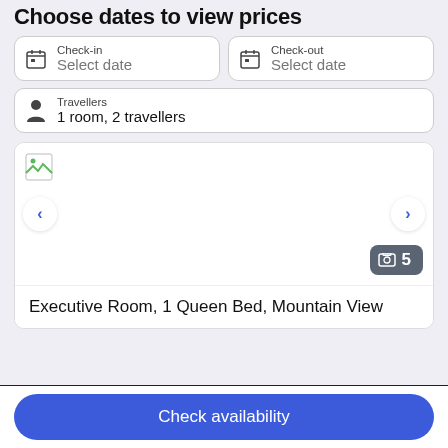Choose dates to view prices
Check-in
Select date
Check-out
Select date
Travellers
1 room, 2 travellers
[Figure (screenshot): Hotel room image placeholder with broken image icon, navigation arrows, and photo count badge showing 5]
Executive Room, 1 Queen Bed, Mountain View
Check availability